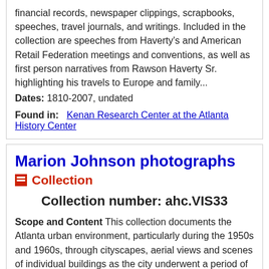financial records, newspaper clippings, scrapbooks, speeches, travel journals, and writings. Included in the collection are speeches from Haverty's and American Retail Federation meetings and conventions, as well as first person narratives from Rawson Haverty Sr. highlighting his travels to Europe and family...
Dates: 1810-2007, undated
Found in:   Kenan Research Center at the Atlanta History Center
Marion Johnson photographs
Collection
Collection number: ahc.VIS33
Scope and Content This collection documents the Atlanta urban environment, particularly during the 1950s and 1960s, through cityscapes, aerial views and scenes of individual buildings as the city underwent a period of building and growth. The arrival of the...